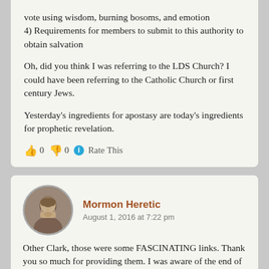vote using wisdom, burning bosoms, and emotion
4) Requirements for members to submit to this authority to obtain salvation
Oh, did you think I was referring to the LDS Church? I could have been referring to the Catholic Church or first century Jews.
Yesterday's ingredients for apostasy are today's ingredients for prophetic revelation.
👍 0 👎 0 ℹ Rate This
Mormon Heretic
August 1, 2016 at 7:22 pm
Other Clark, those were some FASCINATING links. Thank you so much for providing them. I was aware of the end of the Law of Adoption,